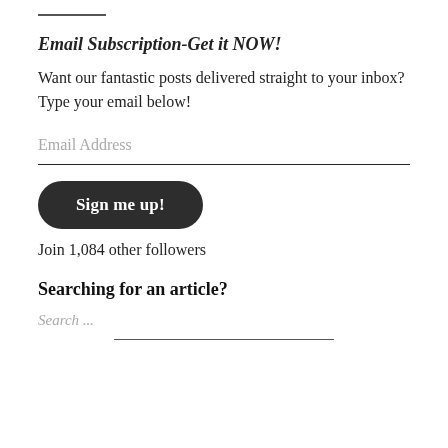Email Subscription-Get it NOW!
Want our fantastic posts delivered straight to your inbox? Type your email below!
Email Address
Sign me up!
Join 1,084 other followers
Searching for an article?
Search ...